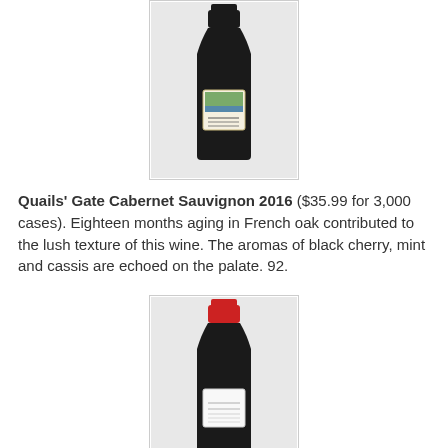[Figure (photo): Wine bottle with dark label, Quails Gate Cabernet Sauvignon 2016, shown in a bordered box]
Quails' Gate Cabernet Sauvignon 2016 ($35.99 for 3,000 cases). Eighteen months aging in French oak contributed to the lush texture of this wine. The aromas of black cherry, mint and cassis are echoed on the palate. 92.
[Figure (photo): Wine bottle with red foil top and white label, shown in a bordered box]